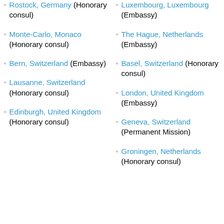Rostock, Germany (Honorary consul)
Monte-Carlo, Monaco (Honorary consul)
Bern, Switzerland (Embassy)
Lausanne, Switzerland (Honorary consul)
Edinburgh, United Kingdom (Honorary consul)
Luxembourg, Luxembourg (Embassy)
The Hague, Netherlands (Embassy)
Basel, Switzerland (Honorary consul)
London, United Kingdom (Embassy)
Geneva, Switzerland (Permanent Mission)
Groningen, Netherlands (Honorary consul)